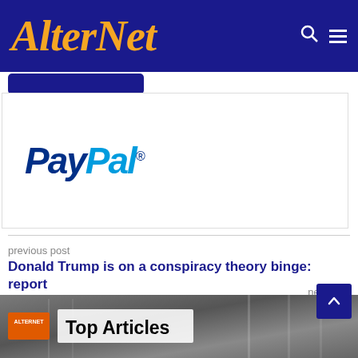AlterNet
[Figure (logo): PayPal logo in blue italic bold text with trademark symbol]
previous post
Donald Trump is on a conspiracy theory binge: report
next post
'A red herring': Bill Barr pans Donald Trump's request for a special master
[Figure (photo): Bottom image strip showing Top Articles section with AlterNet badge and blurry background image of a train or vehicle]